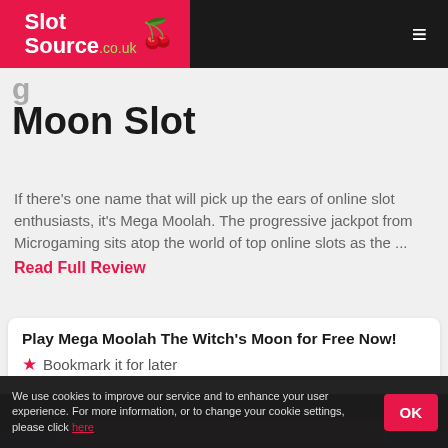SlotSource.co.uk
Moon Slot
If there's one name that will pick up the ears of online slot enthusiasts, it's Mega Moolah. The progressive jackpot from Microgaming sits atop the world of top online slots as the ... Read Full Review
Play Mega Moolah The Witch's Moon for Free Now!
Bookmark it for later
[Figure (screenshot): Dark themed game area with a pink/red bar overlay]
We use cookies to improve our service and to enhance your user experience. For more information, or to change your cookie settings, please click here